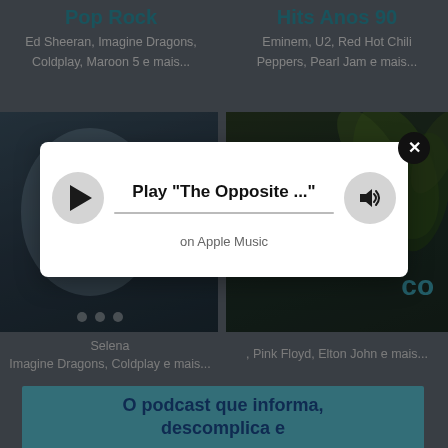Pop Rock
Ed Sheeran, Imagine Dragons, Coldplay, Maroon 5 e mais...
Hits Anos 90
Eminem, U2, Red Hot Chili Peppers, Pearl Jam e mais...
[Figure (screenshot): Dark bluish album art tile on left]
[Figure (screenshot): Dark greenish album art tile on right with 'co' text overlay]
Selena Imagine Dragons, Coldplay e mais...
Pink Floyd, Elton John e mais...
[Figure (infographic): Music player modal popup showing Play button, progress line, volume button, song title 'Play "The Opposite ..."' and 'on Apple Music' subtitle, with close button X]
O podcast que informa, descomplica e